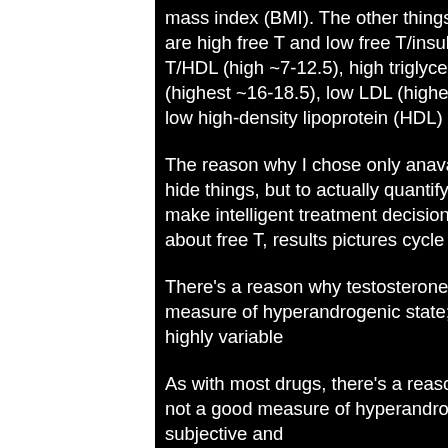mass index (BMI). The other things to be concerned with are high free T and low free T/insulin (-40-60), low free T/HDL (high ~7-12.5), high triglycerides, low HDL (highest ~16-18.5), low LDL (highest ~15-20), and also low high-density lipoprotein (HDL) (highest ~8-10).
The reason why I chose only anavar results is not to hide things, but to actually quantify things so we can make intelligent treatment decisions. What can we do about free T, results pictures cycle anavar only?
There's a reason why testosterone is not a good measure of hyperandrogenic state; it's all subjective and highly variable
As with most drugs, there's a reason why testosterone is not a good measure of hyperandrogenic state; it's all subjective and highly variable
[Figure (photo): Photo of a person with dreadlocks, partially visible on the right side of the image, dark background]